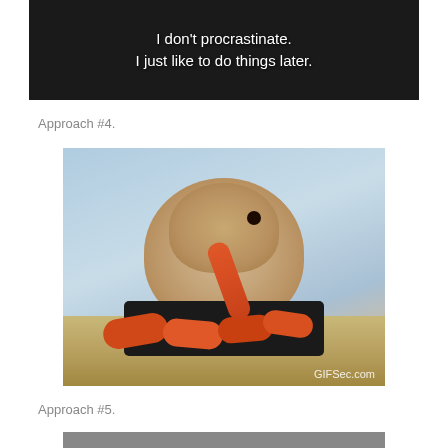[Figure (screenshot): Dark background image with white caption text reading: I don't procrastinate. I just like to do things later.]
Approach #4.
[Figure (photo): A hamster eating a carrot from a black tray filled with small carrots, set on hay. GIFSec.com watermark in bottom right.]
Approach #5.
[Figure (photo): Partially visible image at bottom of page, cut off.]